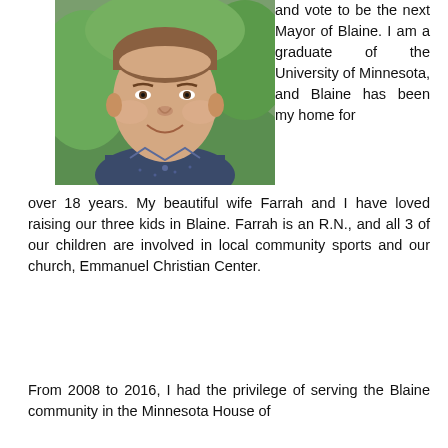[Figure (photo): Headshot of a smiling man in a dark blue dotted shirt, outdoors with green foliage background]
and vote to be the next Mayor of Blaine. I am a graduate of the University of Minnesota, and Blaine has been my home for over 18 years. My beautiful wife Farrah and I have loved raising our three kids in Blaine. Farrah is an R.N., and all 3 of our children are involved in local community sports and our church, Emmanuel Christian Center.
From 2008 to 2016, I had the privilege of serving the Blaine community in the Minnesota House of